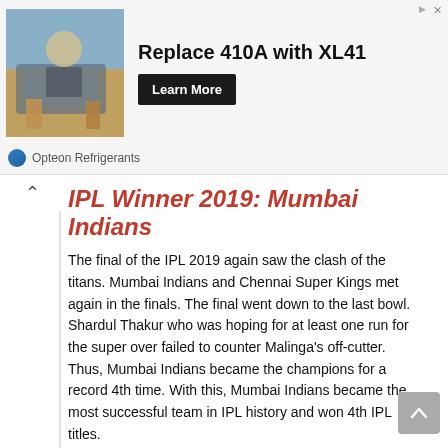[Figure (infographic): Advertisement banner: photo of a technician working on HVAC equipment outdoors, with headline 'Replace 410A with XL41' and a 'Learn More' button. Branded as Opteon Refrigerants.]
IPL Winner 2019: Mumbai Indians
The final of the IPL 2019 again saw the clash of the titans. Mumbai Indians and Chennai Super Kings met again in the finals. The final went down to the last bowl. Shardul Thakur who was hoping for at least one run for the super over failed to counter Malinga's off-cutter. Thus, Mumbai Indians became the champions for a record 4th time. With this, Mumbai Indians became the most successful team in IPL history and won 4th IPL titles.
IPL Winner 2018: Chennai Super Kings
Chennai Super Kings become the second team to win